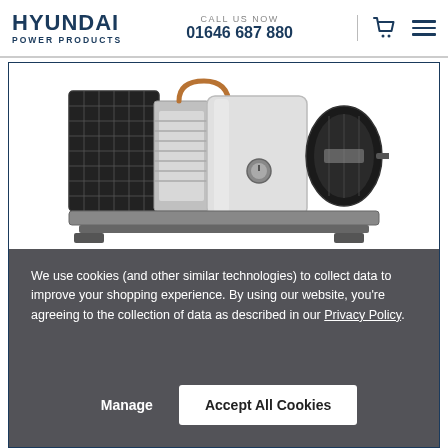HYUNDAI POWER PRODUCTS | CALL US NOW 01646 687 880
[Figure (photo): Air compressor unit with fan guard, copper pipes, cylinder head, and electric motor on a base frame]
We use cookies (and other similar technologies) to collect data to improve your shopping experience. By using our website, you're agreeing to the collection of data as described in our Privacy Policy.
Manage | Accept All Cookies